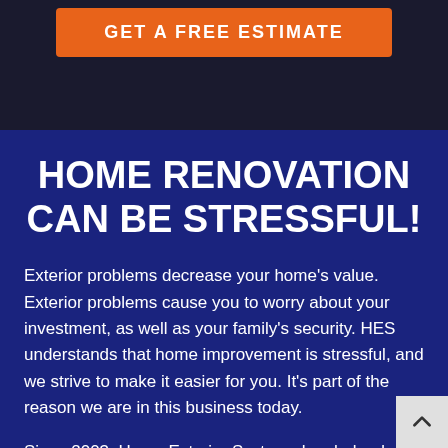[Figure (screenshot): Dark hero background image with orange 'GET A FREE ESTIMATE' button]
HOME RENOVATION CAN BE STRESSFUL!
Exterior problems decrease your home's value. Exterior problems cause you to worry about your investment, as well as your family's security. HES understands that home improvement is stressful, and we strive to make it easier for you. It's part of the reason we are in this business today.
Since 2003, Home Exterior Systems has helped thousands of Houston area